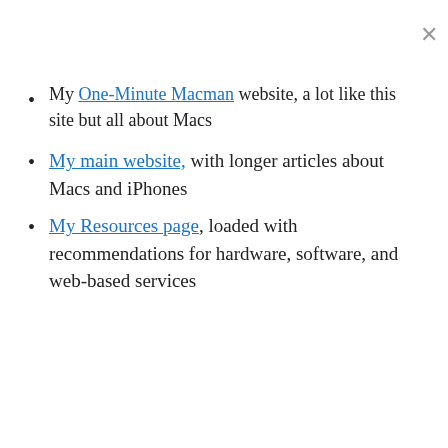My One-Minute Macman website, a lot like this site but all about Macs
My main website, with longer articles about Macs and iPhones
My Resources page, loaded with recommendations for hardware, software, and web-based services